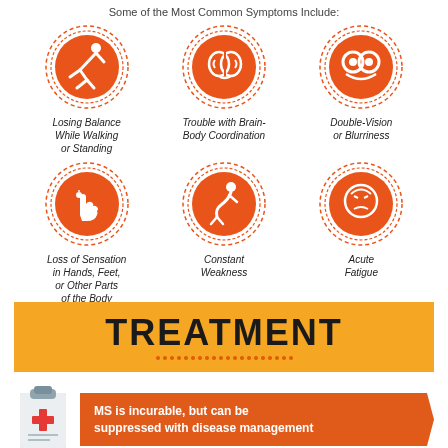Some of the Most Common Symptoms Include:
[Figure (infographic): Six orange circular icons representing MS symptoms: Losing Balance While Walking or Standing, Trouble with Brain-Body Coordination, Double-Vision or Blurriness, Loss of Sensation in Hands Feet or Other Parts of the Body, Constant Weakness, Acute Fatigue]
Losing Balance While Walking or Standing
Trouble with Brain-Body Coordination
Double-Vision or Blurriness
Loss of Sensation in Hands, Feet, or Other Parts of the Body
Constant Weakness
Acute Fatigue
TREATMENT
MS is incurable, but can be suppressed with disease management